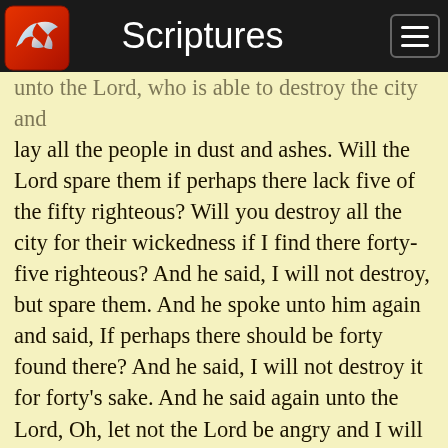Scriptures
unto the Lord, who is able to destroy the city and lay all the people in dust and ashes. Will the Lord spare them if perhaps there lack five of the fifty righteous? Will you destroy all the city for their wickedness if I find there forty-five righteous? And he said, I will not destroy, but spare them. And he spoke unto him again and said, If perhaps there should be forty found there? And he said, I will not destroy it for forty's sake. And he said again unto the Lord, Oh, let not the Lord be angry and I will speak. If perhaps there shall thirty be found there? And he said, I will not destroy them if you shall find thirty there. And he said, Behold, now I have taken upon me to speak unto the Lord. Will you destroy them if perhaps there shall be twenty found there? And he said, I will not destroy them